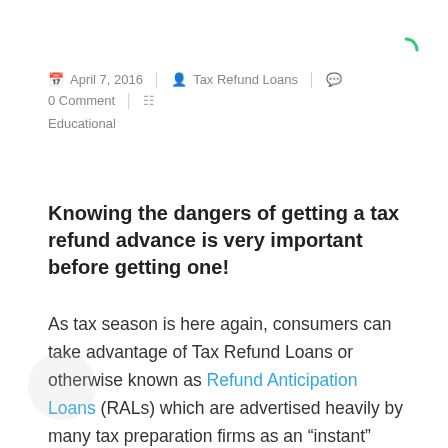April 7, 2016  Tax Refund Loans  0 Comment  Educational
Knowing the dangers of getting a tax refund advance is very important before getting one!
As tax season is here again, consumers can take advantage of Tax Refund Loans or otherwise known as Refund Anticipation Loans (RALs) which are advertised heavily by many tax preparation firms as an “instant” refund. However they are really nothing more than very expensive short-term loans. With tax booklets arriving at local libraries, the enticing TV and radio ads have begun, encouraging taxpayers to apply for a speedy Refund Anticipation Loan (RAL). But before you go running to the nearest tax